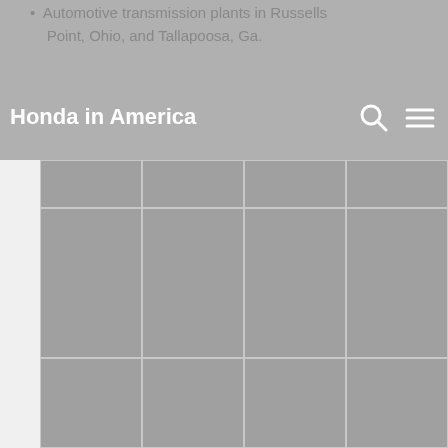Honda in America
Automotive transmission plants in Russells Point, Ohio, and Tallapoosa, Ga.
[Figure (other): Grid of image thumbnail placeholders arranged in 3 rows and 4 columns with grey background tiles]